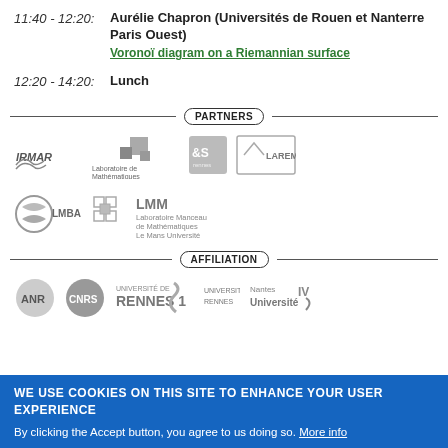11:40 - 12:20:   Aurélie Chapron (Universités de Rouen et Nanterre Paris Ouest)
Voronoï diagram on a Riemannian surface
12:20 - 14:20:   Lunch
Partners
[Figure (logo): Partner logos: IRMAR, Laboratoire de Mathématiques Jean Leray, E&S Rennes, LAREMA]
[Figure (logo): Partner logos: LMBA, LMM Laboratoire Manceau de Mathématiques Le Mans Université]
Affiliation
[Figure (logo): Affiliation logos: ANR, CNRS, Université de Rennes 1, Université Rennes, Nantes Université]
We use cookies on this site to enhance your user experience
By clicking the Accept button, you agree to us doing so. More info